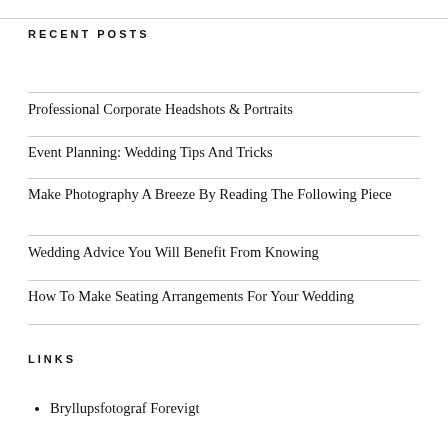RECENT POSTS
Professional Corporate Headshots & Portraits
Event Planning: Wedding Tips And Tricks
Make Photography A Breeze By Reading The Following Piece
Wedding Advice You Will Benefit From Knowing
How To Make Seating Arrangements For Your Wedding
LINKS
Bryllupsfotograf Forevigt